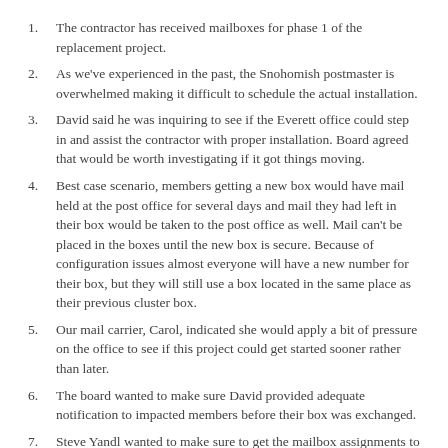The contractor has received mailboxes for phase 1 of the replacement project.
As we've experienced in the past, the Snohomish postmaster is overwhelmed making it difficult to schedule the actual installation.
David said he was inquiring to see if the Everett office could step in and assist the contractor with proper installation. Board agreed that would be worth investigating if it got things moving.
Best case scenario, members getting a new box would have mail held at the post office for several days and mail they had left in their box would be taken to the post office as well. Mail can't be placed in the boxes until the new box is secure. Because of configuration issues almost everyone will have a new number for their box, but they will still use a box located in the same place as their previous cluster box.
Our mail carrier, Carol, indicated she would apply a bit of pressure on the office to see if this project could get started sooner rather than later.
The board wanted to make sure David provided adequate notification to impacted members before their box was exchanged.
Steve Yandl wanted to make sure to get the mailbox assignments to update the mailbox database.